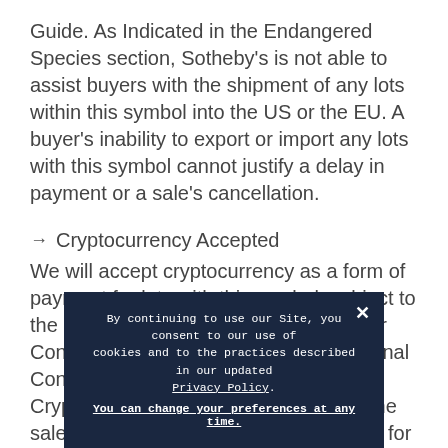Guide. As Indicated in the Endangered Species section, Sotheby's is not able to assist buyers with the shipment of any lots within this symbol into the US or the EU. A buyer's inability to export or import any lots with this symbol cannot justify a delay in payment or a sale's cancellation.
→  Cryptocurrency Accepted
We will accept cryptocurrency as a form of payment for lots with this symbol, subject to the Conditions of Business for Buyers or Conditions of Sale (including the Additional Conditions of Sale for Payment by Cryptocurrency) that are applicable to the sale. Please contact Post Sale Services for more inf
Ex... ...me or...
By continuing to use our Site, you consent to our use of cookies and to the practices described in our updated Privacy Policy. You can change your preferences at any time.